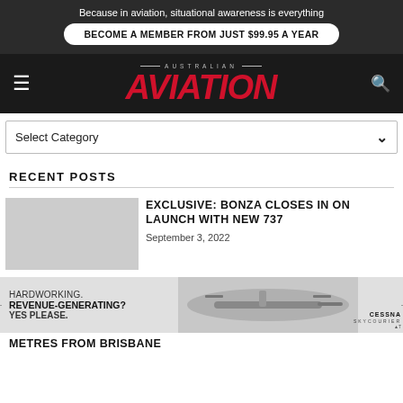Because in aviation, situational awareness is everything
BECOME A MEMBER FROM JUST $99.95 A YEAR
[Figure (logo): Australian Aviation magazine logo — 'AUSTRALIAN' in small caps above large italic bold red 'AVIATION' text]
Select Category
RECENT POSTS
EXCLUSIVE: BONZA CLOSES IN ON LAUNCH WITH NEW 737
September 3, 2022
[Figure (infographic): Advertisement: HARDWORKING. REVENUE-GENERATING? YES PLEASE. Cessna SkyCourier aircraft image with Cessna SkyCourier logo]
METRES FROM BRISBANE